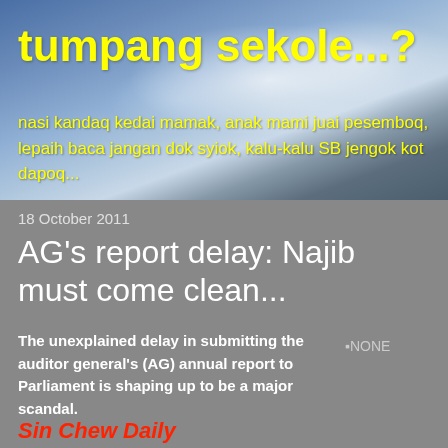tumpang sekole...?
nasi kandaq kedai mamak, anak mami juai pesemboq, lepaih baca jangan dok syiok, kalu-kalu SB jengok kot dapoq...
18 October 2011
AG's report delay: Najib must come clean...
The unexplained delay in submitting the auditor general's (AG) annual report to Parliament is shaping up to be a major scandal.
[Figure (other): NONE image placeholder]
Sin Chew Daily